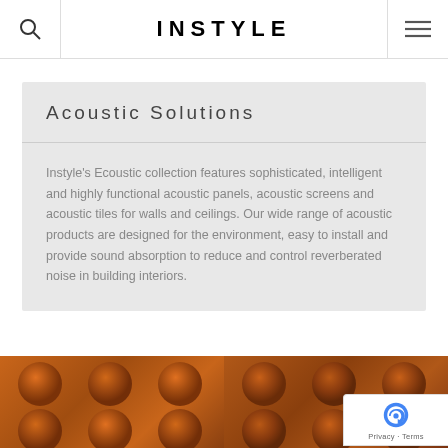INSTYLE
Acoustic Solutions
Instyle's Ecoustic collection features sophisticated, intelligent and highly functional acoustic panels, acoustic screens and acoustic tiles for walls and ceilings. Our wide range of acoustic products are designed for the environment, easy to install and provide sound absorption to reduce and control reverberated noise in building interiors.
[Figure (photo): Two close-up photos of orange/brown acoustic felt panels with circular bump patterns (Ecoustic products)]